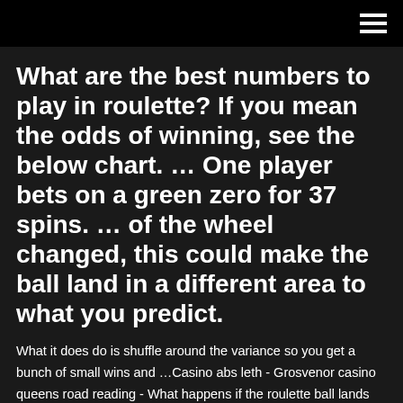≡
What are the best numbers to play in roulette? If you mean the odds of winning, see the below chart. … One player bets on a green zero for 37 spins. … of the wheel changed, this could make the ball land in a different area to what you predict.
What it does do is shuffle around the variance so you get a bunch of small wins and …Casino abs leth - Grosvenor casino queens road reading - What happens if the roulette ball lands on greenRoulette wheel 2 3: The game of